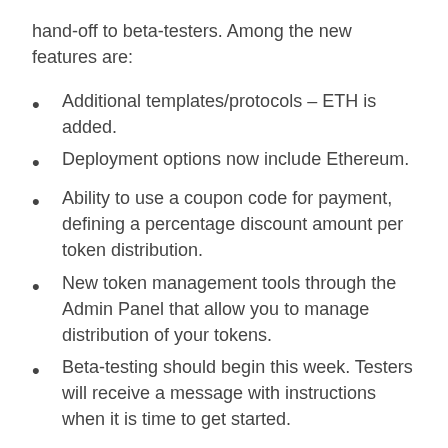hand-off to beta-testers. Among the new features are:
Additional templates/protocols – ETH is added.
Deployment options now include Ethereum.
Ability to use a coupon code for payment, defining a percentage discount amount per token distribution.
New token management tools through the Admin Panel that allow you to manage distribution of your tokens.
Beta-testing should begin this week. Testers will receive a message with instructions when it is time to get started.
A new version of Tokenlab is now available in the Tokenlab Beta-Testing Discord channel. Testers will see improvements in ease-of-use and